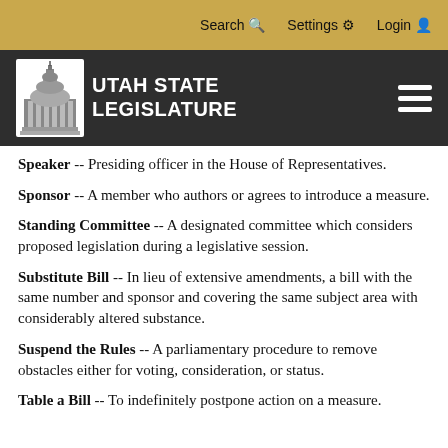Search  Settings  Login
[Figure (logo): Utah State Legislature logo with capitol building and white text on dark background, with hamburger menu icon]
Speaker -- Presiding officer in the House of Representatives.
Sponsor -- A member who authors or agrees to introduce a measure.
Standing Committee -- A designated committee which considers proposed legislation during a legislative session.
Substitute Bill -- In lieu of extensive amendments, a bill with the same number and sponsor and covering the same subject area with considerably altered substance.
Suspend the Rules -- A parliamentary procedure to remove obstacles either for voting, consideration, or status.
Table a Bill -- To indefinitely postpone action on a measure.